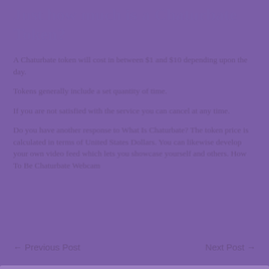Just how much is a Chaturbate Token?
A Chaturbate token will cost in between $1 and $10 depending upon the day.
Tokens generally include a set quantity of time.
If you are not satisfied with the service you can cancel at any time.
Do you have another response to What Is Chaturbate? The token price is calculated in terms of United States Dollars. You can likewise develop your own video feed which lets you showcase yourself and others. How To Be Chaturbate Webcam
← Previous Post    Next Post →